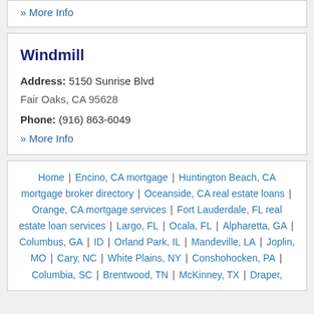» More Info
Windmill
Address: 5150 Sunrise Blvd Fair Oaks, CA 95628
Phone: (916) 863-6049
» More Info
Home | Encino, CA mortgage | Huntington Beach, CA mortgage broker directory | Oceanside, CA real estate loans | Orange, CA mortgage services | Fort Lauderdale, FL real estate loan services | Largo, FL | Ocala, FL | Alpharetta, GA | Columbus, GA | ID | Orland Park, IL | Mandeville, LA | Joplin, MO | Cary, NC | White Plains, NY | Conshohocken, PA | Columbia, SC | Brentwood, TN | McKinney, TX | Draper,